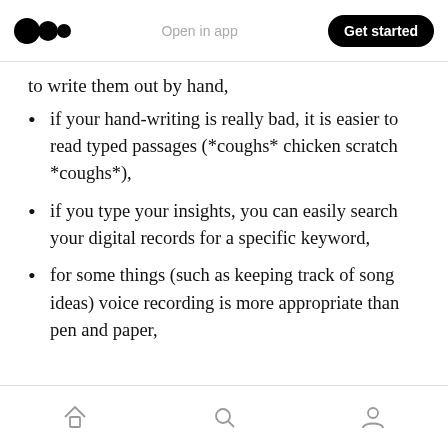Open in app | Get started
to write them out by hand,
if your hand-writing is really bad, it is easier to read typed passages (*coughs* chicken scratch *coughs*),
if you type your insights, you can easily search your digital records for a specific keyword,
for some things (such as keeping track of song ideas) voice recording is more appropriate than pen and paper,
Home | Search | Profile